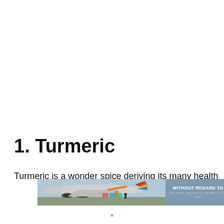1. Turmeric
Turmeric is a wonder spice deriving its many health
[Figure (photo): Advertisement banner showing a cargo airplane being loaded with freight, with text panel reading 'WITHOUT REGARD TO POLITICS, RELIGION, OR ABILITY TO PAY']
×